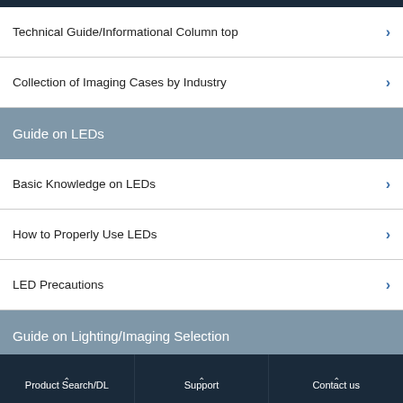Technical Guide/Informational Column top
Collection of Imaging Cases by Industry
Guide on LEDs
Basic Knowledge on LEDs
How to Properly Use LEDs
LED Precautions
Guide on Lighting/Imaging Selection
Information to Check Before Selecting Lighting
Product Search/DL | Support | Contact us